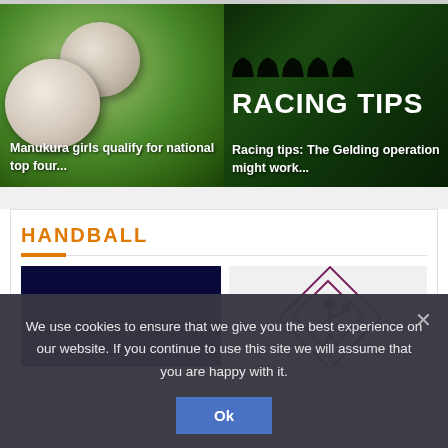[Figure (photo): Rugby balls on green grass background with text overlay 'Manukura girls qualify for national top four...']
[Figure (photo): Dark green racing themed image with 'RACING TIPS' text and silhouettes of horses, overlay text 'Racing tips: The Gelding operation might work...']
HANDBALL
[Figure (photo): Dark navy blue rectangle image block on left side]
[Figure (logo): Handball logo with diamond shape outline and figure holding ball, purple/maroon color]
We use cookies to ensure that we give you the best experience on our website. If you continue to use this site we will assume that you are happy with it.